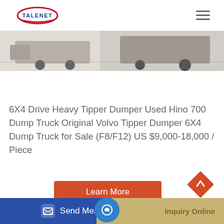[Figure (logo): TALENET company logo with red and blue oval emblem]
[Figure (photo): Partial view of a heavy tipper dumper truck, grey and dark tones]
6X4 Drive Heavy Tipper Dumper Used Hino 700 Dump Truck Original Volvo Tipper Dumper 6X4 Dump Truck for Sale (F8/F12) US $9,000-18,000 / Piece
[Figure (other): Learn More button - red/orange rectangle]
[Figure (other): Send Message button - blue bar with icon]
[Figure (other): Inquiry Online button - tan/gold bar]
[Figure (other): Red diamond up-arrow scroll-to-top button]